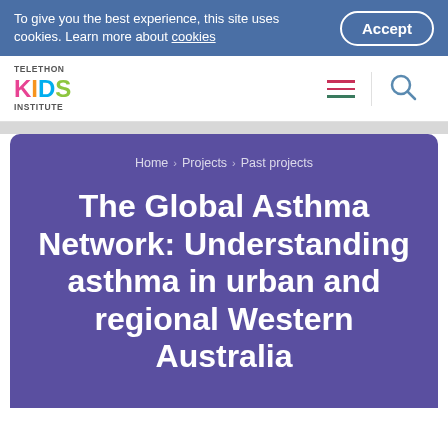To give you the best experience, this site uses cookies. Learn more about cookies
[Figure (logo): Telethon Kids Institute logo with coloured letters K-I-D-S]
Home > Projects > Past projects
The Global Asthma Network: Understanding asthma in urban and regional Western Australia